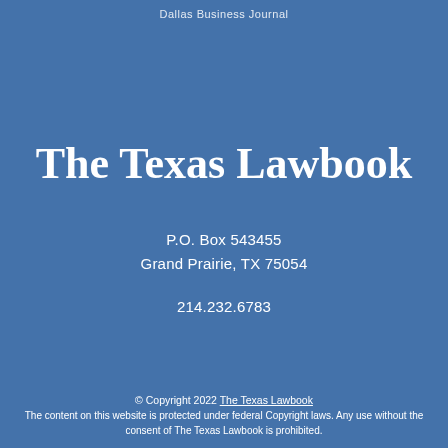Dallas Business Journal
The Texas Lawbook
P.O. Box 543455
Grand Prairie, TX 75054
214.232.6783
© Copyright 2022 The Texas Lawbook
The content on this website is protected under federal Copyright laws. Any use without the consent of The Texas Lawbook is prohibited.